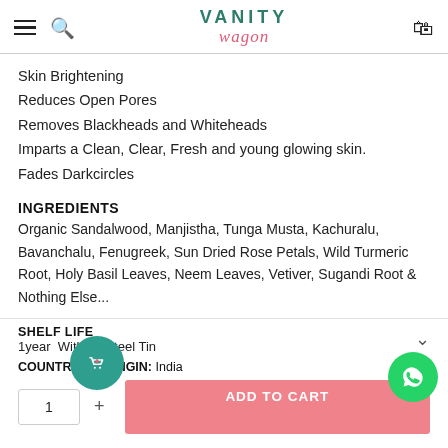VANITY wagon
Skin Brightening
Reduces Open Pores
Removes Blackheads and Whiteheads
Imparts a Clean, Clear, Fresh and young glowing skin.
Fades Darkcircles
INGREDIENTS
Organic Sandalwood, Manjistha, Tunga Musta, Kachuralu, Bavanchalu, Fenugreek, Sun Dried Rose Petals, Wild Turmeric Root, Holy Basil Leaves, Neem Leaves, Vetiver, Sugandi Root & Nothing Else...
SHELF LIFE
1year Without Steel Tin
COUNTRY OF ORIGIN: India